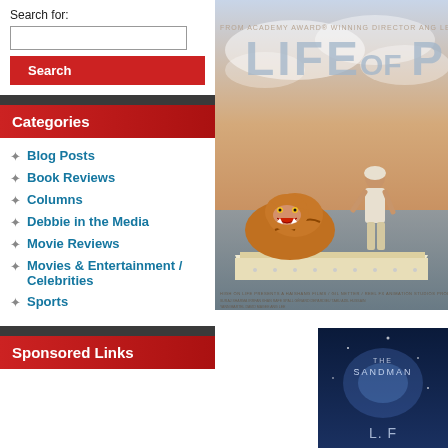Search for:
Search
Categories
Blog Posts
Book Reviews
Columns
Debbie in the Media
Movie Reviews
Movies & Entertainment / Celebrities
Sports
Sponsored Links
[Figure (photo): Life of Pi movie poster showing a young man standing on a boat with a tiger, ocean and sky background, with text 'LIFE OF P' visible]
[Figure (photo): The Sandman book cover, partially visible, dark blue background]